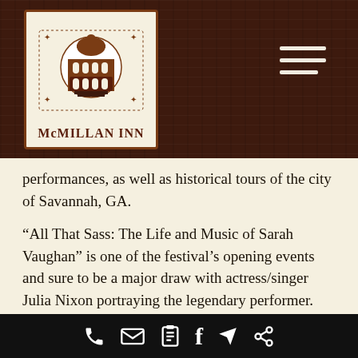[Figure (logo): McMillan Inn logo: building with dome/arch illustration inside a bordered box]
performances, as well as historical tours of the city of Savannah, GA.
“All That Sass: The Life and Music of Sarah Vaughan” is one of the festival’s opening events and sure to be a major draw with actress/singer Julia Nixon portraying the legendary performer.
The Ballethnic Dance Company is once again the featured dance group for the festival and are scheduled to perform a special ballet
[Figure (infographic): Black bottom navigation bar with white icons: phone, envelope/mail, notepad, Facebook f, location/navigation arrow, share]